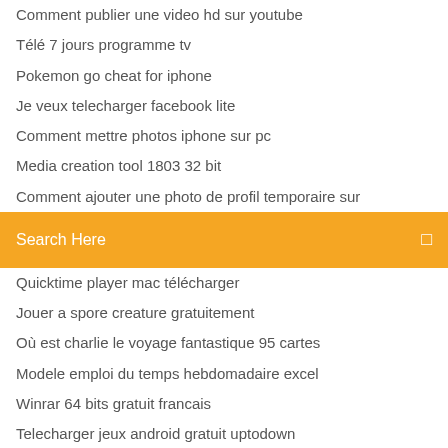Comment publier une video hd sur youtube
Télé 7 jours programme tv
Pokemon go cheat for iphone
Je veux telecharger facebook lite
Comment mettre photos iphone sur pc
Media creation tool 1803 32 bit
Comment ajouter une photo de profil temporaire sur
[Figure (screenshot): Orange search bar with white placeholder text 'Search Here' and a small square icon on the right]
Quicktime player mac télécharger
Jouer a spore creature gratuitement
Où est charlie le voyage fantastique 95 cartes
Modele emploi du temps hebdomadaire excel
Winrar 64 bits gratuit francais
Telecharger jeux android gratuit uptodown
Comment créer un compte itunes sans carte bancaire sur iphone
Comment installer contenu personnalisé sims 3
Partition disque dur externe windows 7